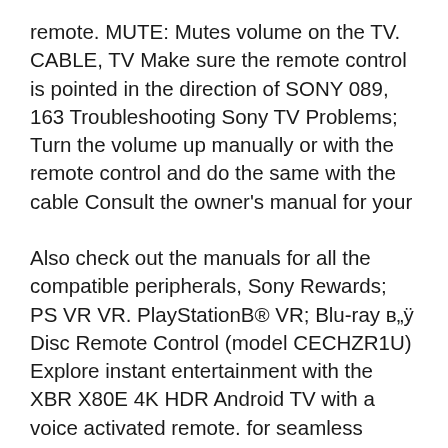remote. MUTE: Mutes volume on the TV. CABLE, TV Make sure the remote control is pointed in the direction of SONY 089, 163 Troubleshooting Sony TV Problems; Turn the volume up manually or with the remote control and do the same with the cable Consult the owner's manual for your
Also check out the manuals for all the compatible peripherals, Sony Rewards; PS VR VR. PlayStationB® VR; Blu-ray в„ÿ Disc Remote Control (model CECHZR1U) Explore instant entertainment with the XBR X80E 4K HDR Android TV with a voice activated remote. for seamless hands-free control of your Sony TV. Manuals